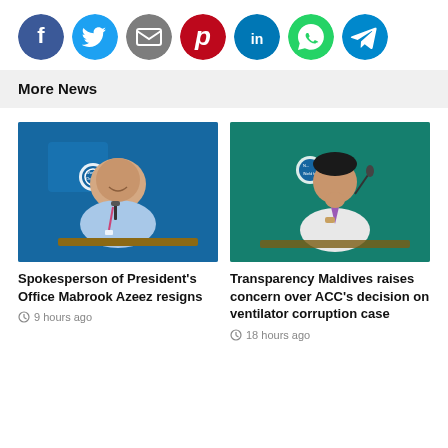[Figure (infographic): Social media share icons: Facebook (blue), Twitter (light blue), Email (gray), Pinterest (dark red), LinkedIn (dark blue), WhatsApp (green), Telegram (blue)]
More News
[Figure (photo): Man in light blue shirt smiling at a podium with WHO logo in background]
Spokesperson of President's Office Mabrook Azeez resigns
9 hours ago
[Figure (photo): Man in white shirt and purple tie with hand near mouth at a podium with WHO logo in background]
Transparency Maldives raises concern over ACC's decision on ventilator corruption case
18 hours ago